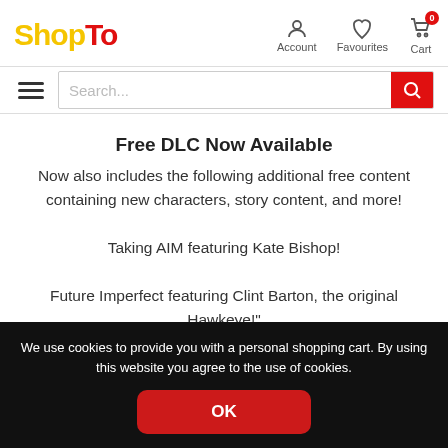[Figure (logo): ShopTo logo — 'Shop' in yellow, 'To' in red, bold large text]
[Figure (infographic): Navigation icons: Account (person icon), Favourites (heart icon), Cart (cart icon with '0' badge)]
[Figure (infographic): Hamburger menu icon (three horizontal lines) and search bar with red search button]
Free DLC Now Available
Now also includes the following additional free content containing new characters, story content, and more!
Taking AIM featuring Kate Bishop!
Future Imperfect featuring Clint Barton, the original Hawkeye!"
We use cookies to provide you with a personal shopping cart. By using this website you agree to the use of cookies.